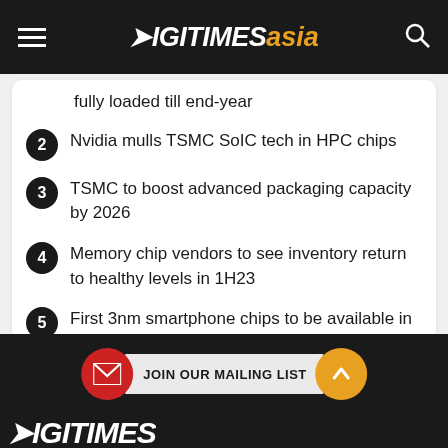DIGITIMES asia
fully loaded till end-year
2 Nvidia mulls TSMC SoIC tech in HPC chips
3 TSMC to boost advanced packaging capacity by 2026
4 Memory chip vendors to see inventory return to healthy levels in 1H23
5 First 3nm smartphone chips to be available in 2H23
JOIN OUR MAILING LIST